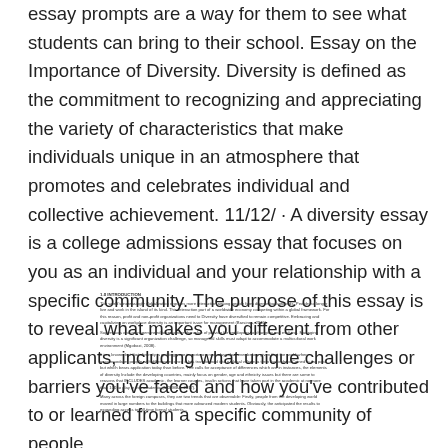essay prompts are a way for them to see what students can bring to their school. Essay on the Importance of Diversity. Diversity is defined as the commitment to recognizing and appreciating the variety of characteristics that make individuals unique in an atmosphere that promotes and celebrates individual and collective achievement. 11/12/ · A diversity essay is a college admissions essay that focuses on you as an individual and your relationship with a specific community. The purpose of this essay is to reveal what makes you different from other applicants, including what unique challenges or barriers you've faced and how you've contributed to or learned from a specific community of people.
1.0 INTRODUCTION
The world's increasingly globalization requires more interaction among people from diverse backgrounds. People no longer live and work in the island of its kind. This interaction part of a worldwide economy competing within a global framework. For this reason, profit and non-profit organizations need to Diversity have diversified to remain competitive. Embracing and capitalizing on workplace diversity is an important issue for management (Barsinas, 2015).

Supervisors and managers need to recognize the value of provide for employees to changing and evolving. Managing diversity is a significant organization challenge, so managerial skills must adapt to accommodate a multicultural work environment (Mgobozi, 2008).

It is a known fact that diversity is gaining more importance nowadays than ever before given that the world when accommodates people with differences since it has transformed into a global village, a term that indeed Coined in the past but which bears application today than before. The calls for acceptance of differences which are in instances, the elements of diversity include the developing countries, mainly focus on gender, age and ethnicity issues but there are some to reasons that INCLUDES academic, the learner couples, insulin actions that have taken part in the academic at no more than 100 to play in this academic (NKEMBA, 2017).

Many across the foreign campuses, they are two trends that are observable: Firstly, people from the developing world moved in large numbers to the buildings that more advanced modern students. Obviously, the anticipated the results to expanding access to full-time formal students...